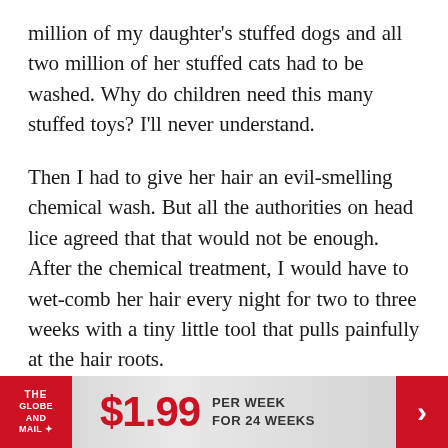million of my daughter's stuffed dogs and all two million of her stuffed cats had to be washed. Why do children need this many stuffed toys? I'll never understand.
Then I had to give her hair an evil-smelling chemical wash. But all the authorities on head lice agreed that that would not be enough. After the chemical treatment, I would have to wet-comb her hair every night for two to three weeks with a tiny little tool that pulls painfully at the hair roots.
I was to kill any eggs I found. They were described as tiny sesame-seed-sized specks that cling to the hair follicle.
[Figure (infographic): The Globe and Mail subscription advertisement banner: red logo on left, $1.99 price in red, 'PER WEEK FOR 24 WEEKS' text, red arrow on right]